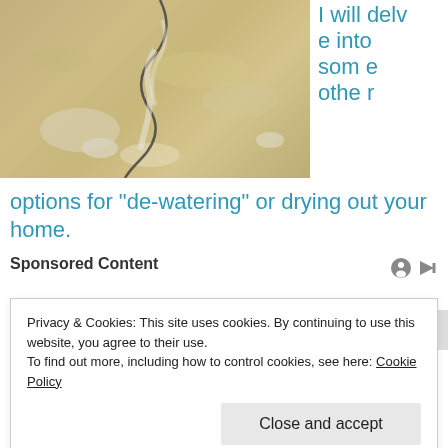[Figure (photo): Close-up photo of cracked concrete floor with white mineral deposits along the crack.]
I will delve into some other options for “de-watering” or drying out your home.
Sponsored Content
Privacy & Cookies: This site uses cookies. By continuing to use this website, you agree to their use.
To find out more, including how to control cookies, see here: Cookie Policy
Close and accept